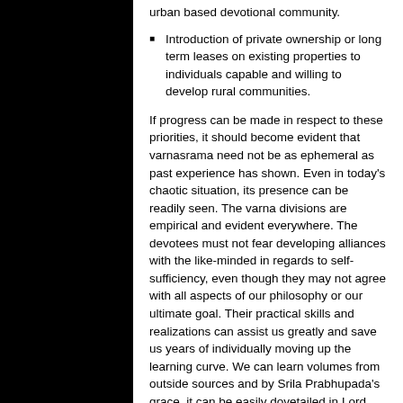urban based devotional community.
Introduction of private ownership or long term leases on existing properties to individuals capable and willing to develop rural communities.
If progress can be made in respect to these priorities, it should become evident that varnasrama need not be as ephemeral as past experience has shown. Even in today's chaotic situation, its presence can be readily seen. The varna divisions are empirical and evident everywhere. The devotees must not fear developing alliances with the like-minded in regards to self-sufficiency, even though they may not agree with all aspects of our philosophy or our ultimate goal. Their practical skills and realizations can assist us greatly and save us years of individually moving up the learning curve. We can learn volumes from outside sources and by Srila Prabhupada's grace, it can be easily dovetailed in Lord Krishna's devotional service.
All glories to Srila Prabhupada.